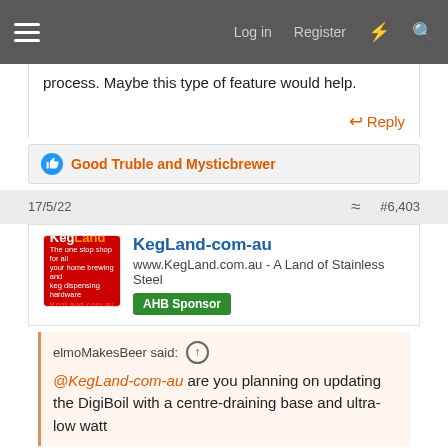≡  Log in  Register  ⚡  🔍
process. Maybe this type of feature would help.
Reply
Good Truble and Mysticbrewer
17/5/22  #6,403
KegLand-com-au
www.KegLand.com.au - A Land of Stainless Steel
AHB Sponsor
elmoMakesBeer said: ↑
@KegLand-com-au are you planning on updating the DigiBoil with a centre-draining base and ultra-low watt
Report Ad
[Figure (screenshot): Advertisement banner showing 'SUMMER THE SUPERIOR WAY' with Buy Now button]